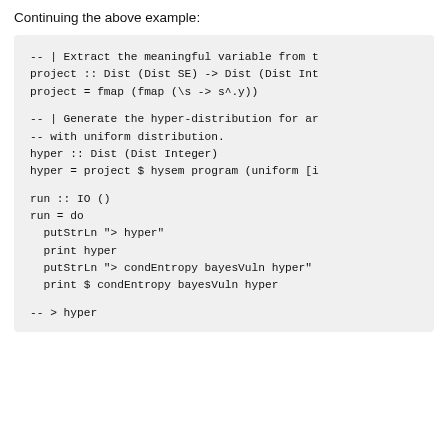Continuing the above example:
[Figure (screenshot): Code block showing Haskell code: project function extracting meaningful variable from a Dist SE, hyper function generating hyper-distribution with uniform distribution, run IO function printing hyper and condEntropy bayesVuln hyper, and comment '-- > hyper']